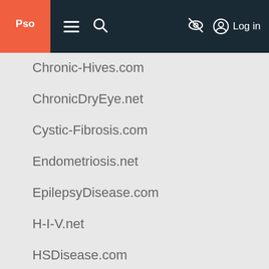PSO navigation bar with logo, menu, search, hide icon, and Log in
Chronic-Hives.com
ChronicDryEye.net
Cystic-Fibrosis.com
Endometriosis.net
EpilepsyDisease.com
H-I-V.net
HSDisease.com
Heart-Failure.net
HepatitisC.net
InflammatoryBowelDisease.net
IrritableBowelSyndrome.net
LungCancer.net